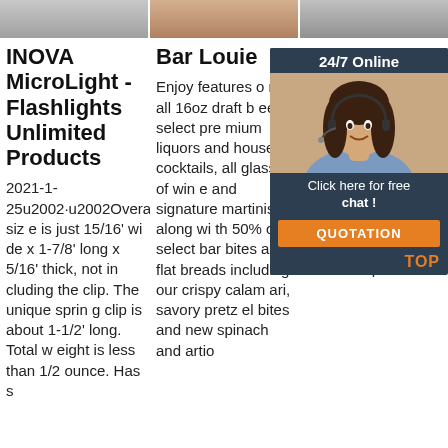[Figure (photo): Three thumbnail images at top of page]
INOVA MicroLight - Flashlights Unlimited Products
2021-1-25u2002·u2002Overall size is just 15/16' wide x 1-7/8' long x 5/16' thick, not including the clip. The unique spring clip is about 1-1/2' long. Total weight is less than 1/2 ounce. Has s
Bar Louie
Enjoy features on all 16oz draft beers, select premium liquors and house cocktails, all glasses of wine and signature martinis along with 50% off select bar bites and flat breads including our crispy calamari, savory pretzl bites and new spinach and artio
Official MapQuest - Maps, Driving Dir... Liv...
Offi... st w... rivin... ma... upd... d co... d nearby businesses, restaurants and hotels. Expl ore!
[Figure (infographic): Advertisement overlay with 24/7 Online badge, photo of woman with headset, Click here for free chat text, QUOTATION button, and TOP logo]